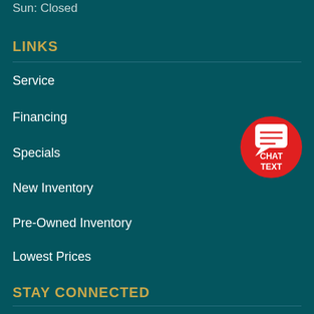Sun: Closed
LINKS
Service
Financing
Specials
New Inventory
Pre-Owned Inventory
Lowest Prices
[Figure (illustration): Red circular chat/text button with speech bubble icon and text CHAT TEXT]
STAY CONNECTED
[Figure (infographic): Social media icons row: Facebook (blue), Twitter (light blue), YouTube (red), Pinterest (red), Instagram (gray-blue)]